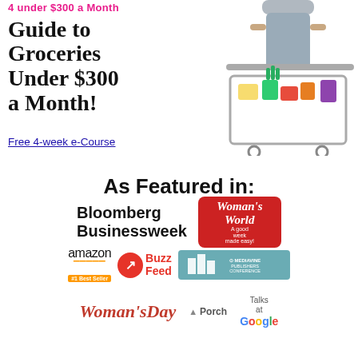[Figure (illustration): Promotional image of a woman with a grocery cart full of produce and food items, with text overlay: '4 Under $300 a Month - Guide to Groceries Under $300 a Month!' and 'Free 4-week e-Course' link]
As Featured in:
[Figure (logo): Bloomberg Businessweek logo (black bold text)]
[Figure (logo): Woman's World magazine logo (red badge with white italic text)]
[Figure (logo): Amazon #1 Best Seller badge]
[Figure (logo): BuzzFeed logo (red circle with arrow, red text)]
[Figure (logo): Mediavine Publishers Conference logo (teal/green background)]
[Figure (logo): Woman's Day logo (red italic serif text)]
[Figure (logo): Porch logo]
[Figure (logo): Talks at Google logo]